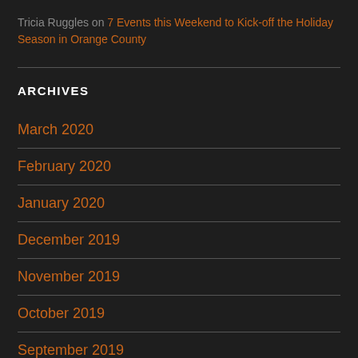Tricia Ruggles on 7 Events this Weekend to Kick-off the Holiday Season in Orange County
ARCHIVES
March 2020
February 2020
January 2020
December 2019
November 2019
October 2019
September 2019